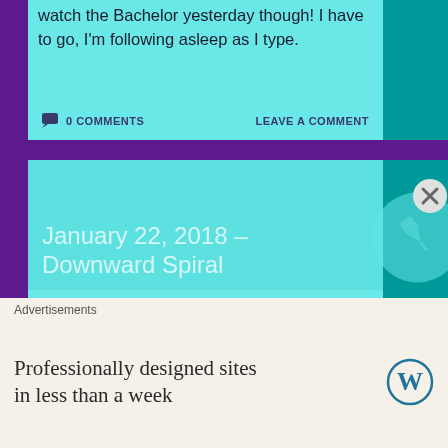watch the Bachelor yesterday though! I have to go, I'm following asleep as I type.
0 COMMENTS    LEAVE A COMMENT
January 22, 2018 – Downward Spiral
I woke up and read my Bible. I also put homemade beef fajitas with bell peppers and onions in the crockpot! It's so yummy! Then, I rode my stationary bike
Advertisements
Professionally designed sites in less than a week